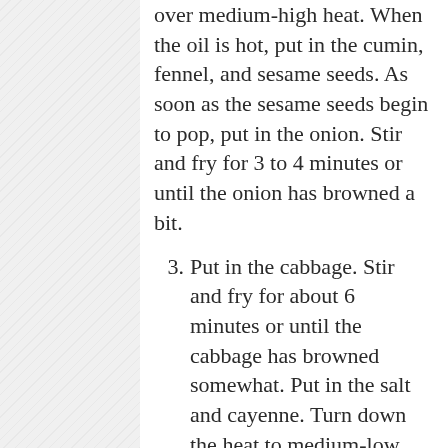over medium-high heat. When the oil is hot, put in the cumin, fennel, and sesame seeds. As soon as the sesame seeds begin to pop, put in the onion. Stir and fry for 3 to 4 minutes or until the onion has browned a bit.
3. Put in the cabbage. Stir and fry for about 6 minutes or until the cabbage has browned somewhat. Put in the salt and cayenne. Turn down the heat to medium-low and cook, stirring now and then, for another 7 to 8 minutes or until the onions appear